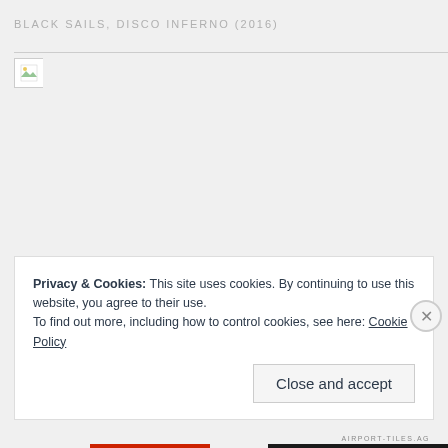BLACK SAILS, DISCO INFERNO (2016)
[Figure (photo): Broken/missing image placeholder with divider line below the page header]
Privacy & Cookies: This site uses cookies. By continuing to use this website, you agree to their use.
To find out more, including how to control cookies, see here: Cookie Policy
Close and accept